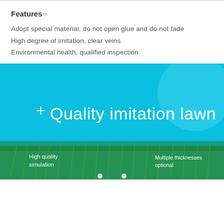Features✏
Adopt special material, do not open glue and do not fade
High degree of imitation, clear veins
Environmental health, qualified inspection
[Figure (illustration): Blue promotional banner for 'Quality imitation lawn' product. Bright cyan/sky-blue background with a decorative lighter blue circle in the top-right corner. A white '+' symbol on the left side. White large text reads 'Quality imitation lawn'. Bottom shows green grass/lawn imagery fading in. Bottom-left text: 'High quality simulation'. Bottom-right text: 'Multiple thicknesses optional'. Two white dots at the bottom center as navigation indicators.]